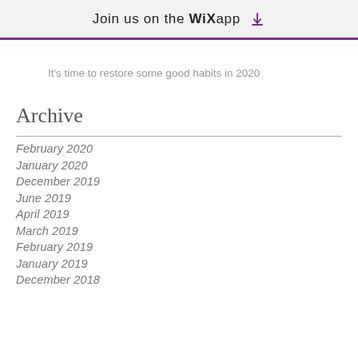Join us on the WiX app
It's time to restore some good habits in 2020
Archive
February 2020
January 2020
December 2019
June 2019
April 2019
March 2019
February 2019
January 2019
December 2018